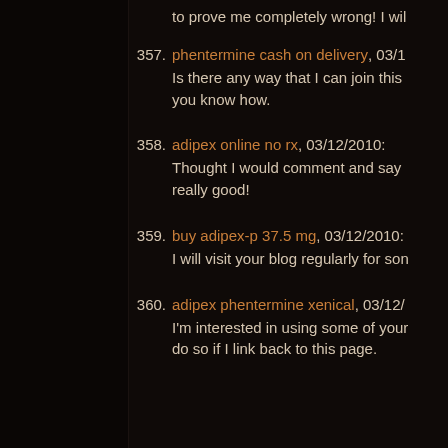to prove me completely wrong! I wil
357. phentermine cash on delivery, 03/1
Is there any way that I can join this you know how.
358. adipex online no rx, 03/12/2010:
Thought I would comment and say really good!
359. buy adipex-p 37.5 mg, 03/12/2010:
I will visit your blog regularly for son
360. adipex phentermine xenical, 03/12/
I'm interested in using some of your do so if I link back to this page.